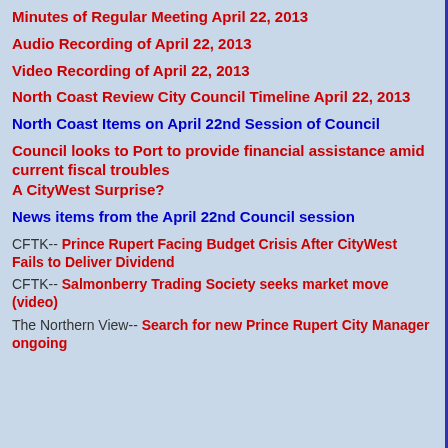Minutes of Regular Meeting April 22, 2013
Audio Recording of April 22, 2013
Video Recording of April 22, 2013
North Coast Review City Council Timeline April 22, 2013
North Coast Items on April 22nd Session of Council
Council looks to Port to provide financial assistance amid current fiscal troubles
A CityWest Surprise?
News items from the April 22nd Council session
CFTK-- Prince Rupert Facing Budget Crisis After CityWest Fails to Deliver Dividend
CFTK-- Salmonberry Trading Society seeks market move (video)
The Northern View-- Search for new Prince Rupert City Manager ongoing